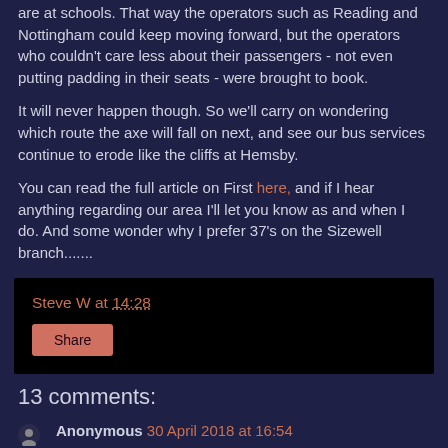are at schools. That way the operators such as Reading and Nottingham could keep moving forward, but the operators who couldn't care less about their passengers - not even putting padding in their seats - were brought to book.
It will never happen though. So we'll carry on wondering which route the axe will fall on next, and see our bus services continue to erode like the cliffs at Hemsby.
You can read the full article on First here, and if I hear anything regarding our area I'll let you know as and when I do. And some wonder why I prefer 37's on the Sizewell branch.......
Steve W at 14:28
Share
13 comments:
Anonymous 30 April 2018 at 16:54